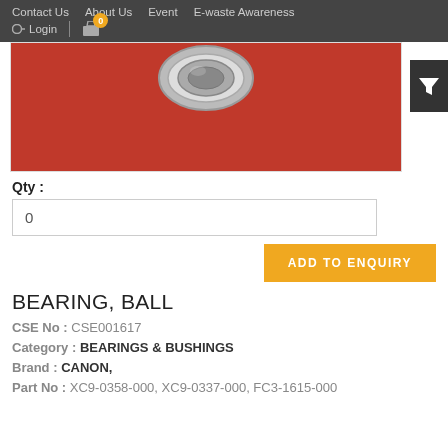Contact Us   About Us   Event   E-waste Awareness   Login   0
[Figure (photo): A ball bearing on a red fabric background, showing a metallic ring bearing partially visible at the top of the image.]
Qty :
0
ADD TO ENQUIRY
BEARING, BALL
CSE No : CSE001617
Category : BEARINGS & BUSHINGS
Brand : CANON,
Part No : XC9-0358-000, XC9-0337-000, FC3-1615-000